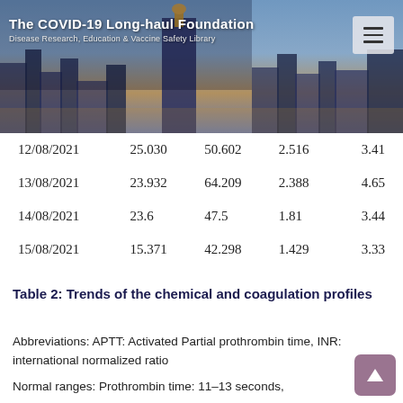The COVID-19 Long-haul Foundation
Disease Research, Education & Vaccine Safety Library
| Date | Value1 | Value2 | Value3 | Value4 |
| --- | --- | --- | --- | --- |
| 12/08/2021 | 25.030 | 50.602 | 2.516 | 3.41 |
| 13/08/2021 | 23.932 | 64.209 | 2.388 | 4.65 |
| 14/08/2021 | 23.6 | 47.5 | 1.81 | 3.44 |
| 15/08/2021 | 15.371 | 42.298 | 1.429 | 3.33 |
Table 2: Trends of the chemical and coagulation profiles
Abbreviations: APTT: Activated Partial prothrombin time, INR: international normalized ratio
Normal ranges: Prothrombin time: 11–13 seconds,